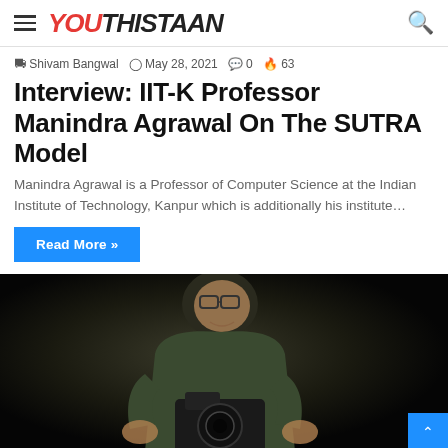YOUTHISTAAN
Shivam Bangwal  May 28, 2021  0  63
Interview: IIT-K Professor Manindra Agrawal On The SUTRA Model
Manindra Agrawal is a Professor of Computer Science at the Indian Institute of Technology, Kanpur which is additionally his institute…
Read More »
[Figure (photo): A man holding a camera in a dark setting, photographed at close range from above. He is wearing a military-style jacket.]